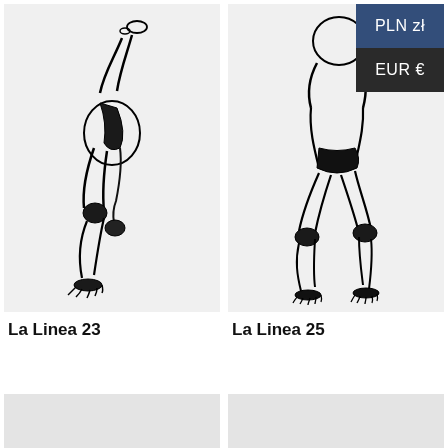[Figure (illustration): Line art drawing of a human figure in a twisted/bent pose with legs raised, minimalist black outline on light grey background. Item labeled La Linea 23.]
[Figure (illustration): Line art drawing of a human figure in a crouched/bent forward pose, minimalist black outline on light grey background. Item labeled La Linea 25. Currency selector overlay showing PLN zł and EUR € buttons in top right corner.]
La Linea 23
La Linea 25
[Figure (illustration): Partially visible illustration panel at bottom left, light grey placeholder.]
[Figure (illustration): Partially visible illustration panel at bottom right, light grey placeholder.]